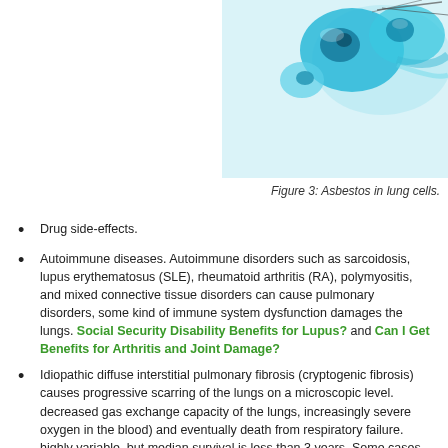[Figure (photo): Microscopic image of asbestos fibers in lung cells, showing blue-teal colored cell structures against a light background.]
Figure 3: Asbestos in lung cells.
Drug side-effects.
Autoimmune diseases. Autoimmune disorders such as sarcoidosis, lupus erythematosus (SLE), rheumatoid arthritis (RA), polymyositis, and mixed connective tissue disorders can cause pulmonary disorders, some kind of immune system dysfunction damages the lungs. Social Security Disability Benefits for Lupus? and Can I Get Benefits for Arthritis and Joint Damage?
Idiopathic diffuse interstitial pulmonary fibrosis (cryptogenic fibrosis) causes progressive scarring of the lungs on a microscopic level. decreased gas exchange capacity of the lungs, increasingly severe oxygen in the blood) and eventually death from respiratory failure. highly variable, but median survival is less than 3 years. Some cases progressive for a number of years, then are triggered by some unknown rapidly more severe.
Other diseases. Examples of other diseases that can cause pul...